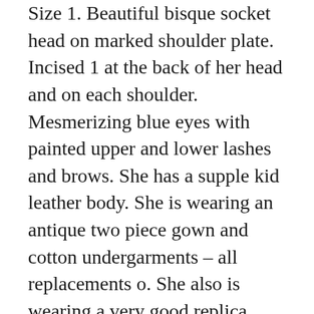Size 1. Beautiful bisque socket head on marked shoulder plate. Incised 1 at the back of her head and on each shoulder. Mesmerizing blue eyes with painted upper and lower lashes and brows. She has a supple kid leather body. She is wearing an antique two piece gown and cotton undergarments – all replacements o. She also is wearing a very good replica mohair wig, antique cork pate and a replica hat. She is a true beauty and a perfect display size! Very good with no hairlines or chips. Body is sturdy and supple but there is light wear to the fingers. The gown has some frailness and wear at the front. Antique shoes are